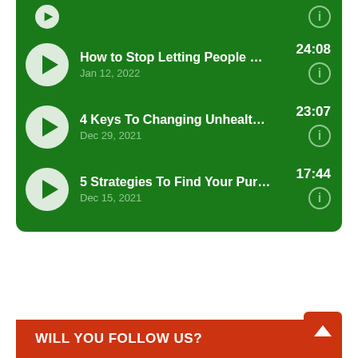[Figure (screenshot): Green podcast/audio episode list panel showing three episodes with play buttons, titles, dates, durations, and info icons. Episodes: 'How to Stop Letting People Get ...' Jan 12, 2022, 24:08; '4 Keys To Changing Unhealthy B...' Dec 29, 2021, 23:07; '5 Strategies To Find Your Purpo...' Dec 15, 2021, 17:44.]
How to Stop Letting People Get ...
Jan 12, 2022
24:08
4 Keys To Changing Unhealthy B...
Dec 29, 2021
23:07
5 Strategies To Find Your Purpo...
Dec 15, 2021
17:44
WILL YOU FOLLOW US?